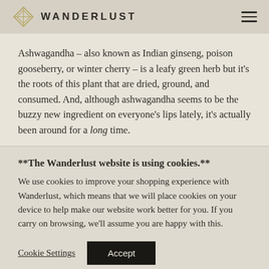WANDERLUST
Ashwagandha – also known as Indian ginseng, poison gooseberry, or winter cherry – is a leafy green herb but it's the roots of this plant that are dried, ground, and consumed. And, although ashwagandha seems to be the buzzy new ingredient on everyone's lips lately, it's actually been around for a long time.
**The Wanderlust website is using cookies.**
We use cookies to improve your shopping experience with Wanderlust, which means that we will place cookies on your device to help make our website work better for you. If you carry on browsing, we'll assume you are happy with this.
Cookie Settings | Accept